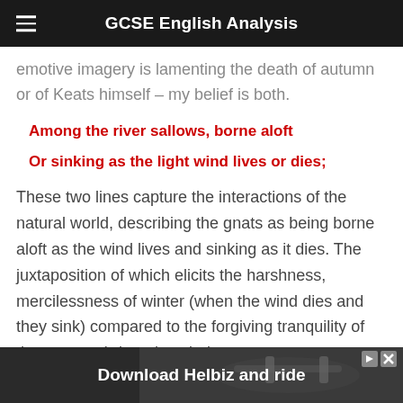GCSE English Analysis
emotive imagery is lamenting the death of autumn or of Keats himself – my belief is both.
Among the river sallows, borne aloft
Or sinking as the light wind lives or dies;
These two lines capture the interactions of the natural world, describing the gnats as being borne aloft as the wind lives and sinking as it dies. The juxtaposition of which elicits the harshness, mercilessness of winter (when the wind dies and they sink) compared to the forgiving tranquility of the autumn (when the wind
[Figure (screenshot): Advertisement banner: Download Helbiz and ride, with a dark background showing a scooter handlebar]